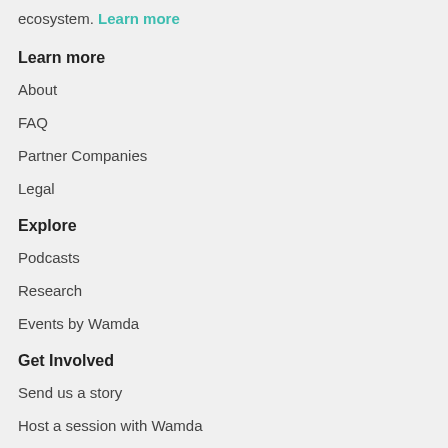ecosystem. Learn more
Learn more
About
FAQ
Partner Companies
Legal
Explore
Podcasts
Research
Events by Wamda
Get Involved
Send us a story
Host a session with Wamda